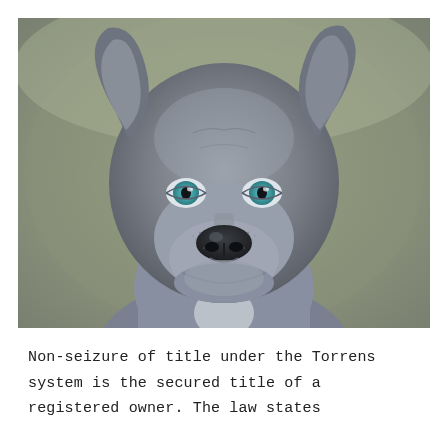[Figure (photo): Close-up portrait photograph of a gray/blue Pit Bull or Weimaraner-type dog with striking blue-green eyes, looking directly at the camera against a blurred olive-gray background.]
Non-seizure of title under the Torrens system is the secured title of a registered owner. The law states